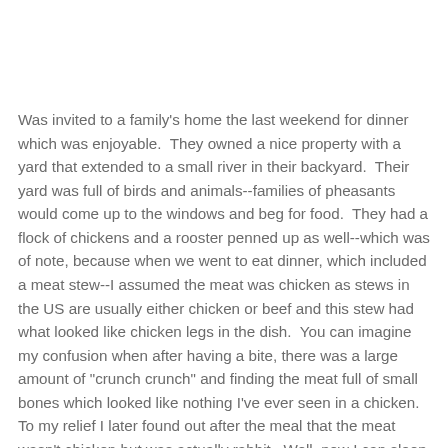Was invited to a family's home the last weekend for dinner which was enjoyable.  They owned a nice property with a yard that extended to a small river in their backyard.  Their yard was full of birds and animals--families of pheasants would come up to the windows and beg for food.  They had a flock of chickens and a rooster penned up as well--which was of note, because when we went to eat dinner, which included a meat stew--I assumed the meat was chicken as stews in the US are usually either chicken or beef and this stew had what looked like chicken legs in the dish.  You can imagine my confusion when after having a bite, there was a large amount of "crunch crunch" and finding the meat full of small bones which looked like nothing I've ever seen in a chicken.  To my relief I later found out after the meal that the meat wasn't chicken but was actually rabbit.  Well, now I can sleep easy knowing that I won't find tiny vertebrae and shoulders the next time I eat at KFC.